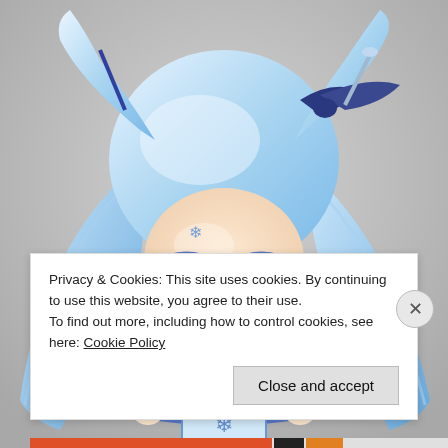[Figure (photo): Close-up photo of a Nendoroid anime figure of Snow Miku — a chibi-style character with long light blue/white twin tails, dark blue bow hair accessory, blue eyes with rosy cheeks, and a blue and white winter outfit with snowflake decorations. Background is neutral gray.]
Privacy & Cookies: This site uses cookies. By continuing to use this website, you agree to their use.
To find out more, including how to control cookies, see here: Cookie Policy
Close and accept